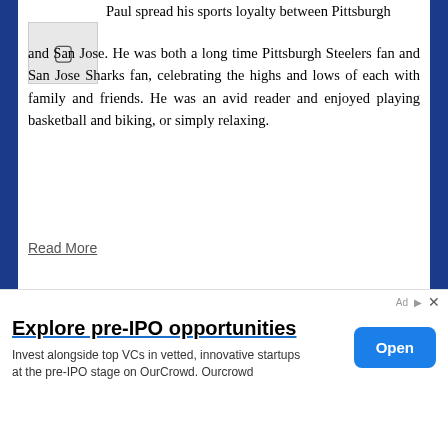Paul spread his sports loyalty between Pittsburgh and San Jose. He was both a long time Pittsburgh Steelers fan and San Jose Sharks fan, celebrating the highs and lows of each with family and friends. He was an avid reader and enjoyed playing basketball and biking, or simply relaxing.
Read More
¶ | James F. Kutch Funeral Home - Crematory
Lorraine B. (George) Russo
June 15, 2022 |
[Figure (screenshot): Advertisement banner: Explore pre-IPO opportunities. Invest alongside top VCs in vetted, innovative startups at the pre-IPO stage on OurCrowd. Ourcrowd. Open button.]